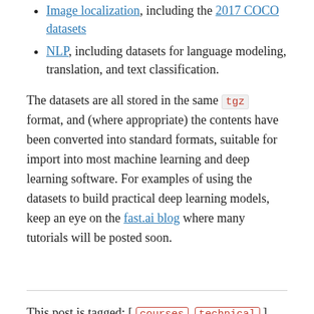Image localization, including the 2017 COCO datasets
NLP, including datasets for language modeling, translation, and text classification.
The datasets are all stored in the same tgz format, and (where appropriate) the contents have been converted into standard formats, suitable for import into most machine learning and deep learning software. For examples of using the datasets to build practical deep learning models, keep an eye on the fast.ai blog where many tutorials will be posted soon.
This post is tagged: [ courses technical ] (click a tag for more posts in that category).
Related Posts